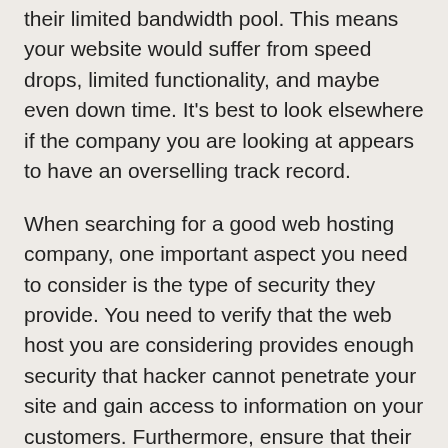their limited bandwidth pool. This means your website would suffer from speed drops, limited functionality, and maybe even down time. It's best to look elsewhere if the company you are looking at appears to have an overselling track record.
When searching for a good web hosting company, one important aspect you need to consider is the type of security they provide. You need to verify that the web host you are considering provides enough security that hacker cannot penetrate your site and gain access to information on your customers. Furthermore, ensure that their servers are backed up regularly and that your site's root directory is accessible to you 24/7.
Carefully investigate the customer service